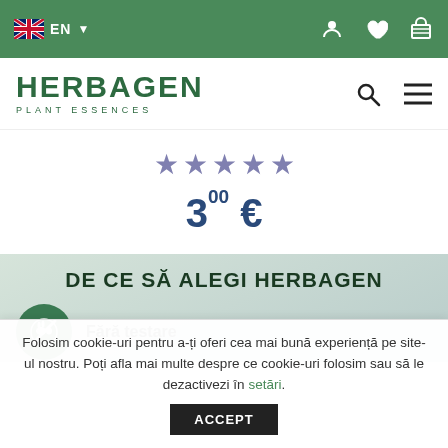EN — navigation bar with account, wishlist, cart icons
[Figure (logo): Herbagen Plant Essences logo with search and menu icons]
★★★★★ (5 stars)
3°° €
DE CE SĂ ALEGI HERBAGEN
Fără testare
Folosim cookie-uri pentru a-ți oferi cea mai bună experiență pe site-ul nostru. Poți afla mai multe despre ce cookie-uri folosim sau să le dezactivezi în setări.